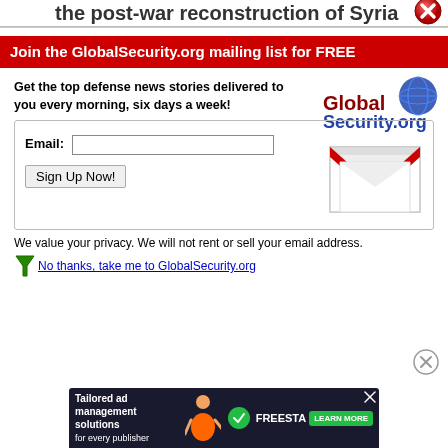the post-war reconstruction of Syria
Join the GlobalSecurity.org mailing list for FREE
Get the top defense news stories delivered to you every morning, six days a week!
[Figure (logo): GlobalSecurity.org logo with globe graphic]
Email: [input field] Sign Up Now!
[Figure (illustration): Email envelope icon graphic]
We value your privacy. We will not rent or sell your email address.
No thanks, take me to GlobalSecurity.org
[Figure (screenshot): Tailored ad management solutions for every publisher - FREESTA advertisement banner]